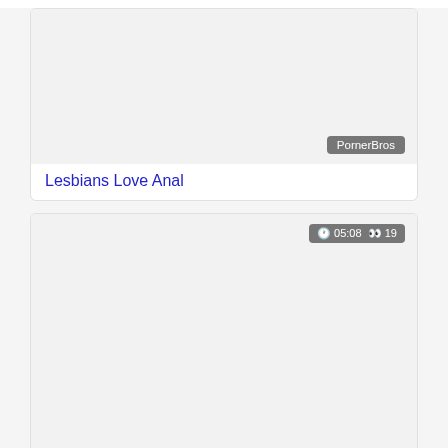[Figure (screenshot): Video thumbnail placeholder for 'Lesbians Love Anal' with PornerBros badge]
Lesbians Love Anal
[Figure (screenshot): Video thumbnail placeholder for 'Hot Fisting And Lesbian Sex' with duration 05:08, views 19, PornerBros badge]
Hot Fisting And Lesbian Sex
[Figure (screenshot): Video thumbnail placeholder with duration 07:19, views 13]